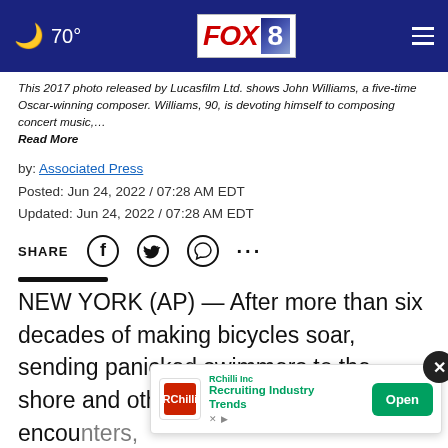🌙 70° FOX 8
This 2017 photo released by Lucasfilm Ltd. shows John Williams, a five-time Oscar-winning composer. Williams, 90, is devoting himself to composing concert music,… Read More
by: Associated Press
Posted: Jun 24, 2022 / 07:28 AM EDT
Updated: Jun 24, 2022 / 07:28 AM EDT
SHARE
NEW YORK (AP) — After more than six decades of making bicycles soar, sending panicked swimmers to the shore and other spellbinding close encounters, John W… may be his last film score.